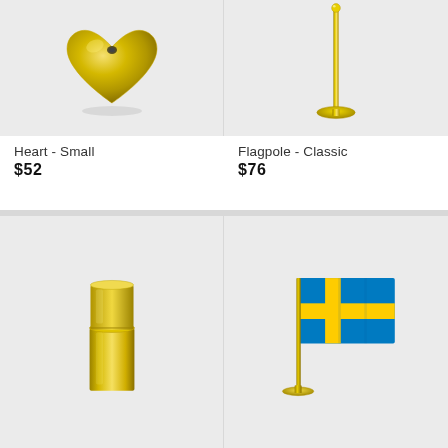[Figure (photo): Gold metallic heart shape, small, on light grey background]
Heart - Small
$52
[Figure (photo): Gold metallic flagpole classic style, on light grey background]
Flagpole - Classic
$76
[Figure (photo): Gold metallic cylindrical canister/container, on light grey background]
[Figure (photo): Small Swedish flag on a gold flagpole stand, on light grey background]